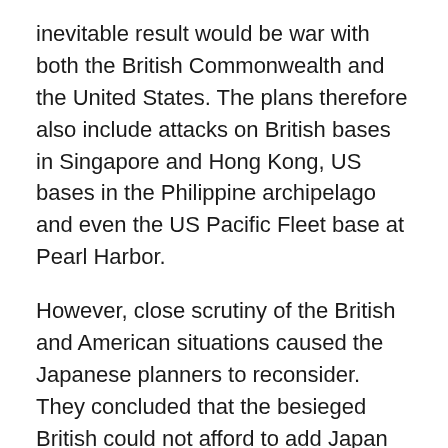inevitable result would be war with both the British Commonwealth and the United States. The plans therefore also include attacks on British bases in Singapore and Hong Kong, US bases in the Philippine archipelago and even the US Pacific Fleet base at Pearl Harbor.
However, close scrutiny of the British and American situations caused the Japanese planners to reconsider. They concluded that the besieged British could not afford to add Japan to their existing adversaries, Nazi Germany and Fascist Italy. Britain, in particular, could not do so without assurances that the United States would enter the war with Japan. And although the Roosevelt administration could deal with threats, American public opinion was so anti-war that the president could not persuade the country to join the war against Nazi Germany, despite the conquest of most of Europe. Indeed, in July 1941, a bill extending the nation's peace plan—which the Roosevelt administration considered fundamentally U.S. national...